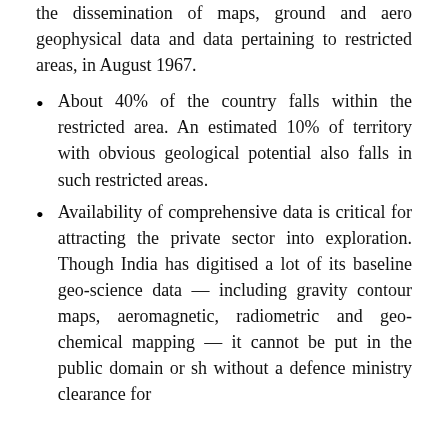the dissemination of maps, ground and aero geophysical data and data pertaining to restricted areas, in August 1967.
About 40% of the country falls within the restricted area. An estimated 10% of territory with obvious geological potential also falls in such restricted areas.
Availability of comprehensive data is critical for attracting the private sector into exploration. Though India has digitised a lot of its baseline geo-science data — including gravity contour maps, aeromagnetic, radiometric and geo-chemical mapping — it cannot be put in the public domain or shared without a defence ministry clearance for